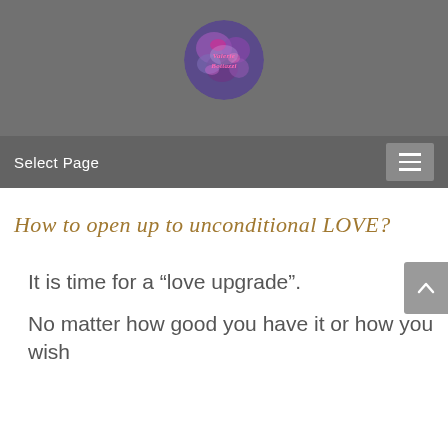[Figure (logo): Circular logo with colorful abstract floral/galaxy design and text 'Valerie Bottazzi' in pink script]
Select Page
How to open up to unconditional LOVE?
It is time for a “love upgrade”.
No matter how good you have it or how you wish